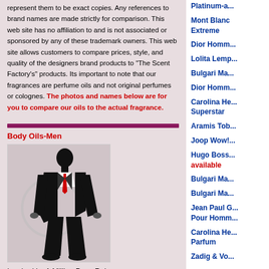represent them to be exact copies. Any references to brand names are made strictly for comparison. This web site has no affiliation to and is not associated or sponsored by any of these trademark owners. This web site allows customers to compare prices, style, and quality of the designers brand products to "The Scent Factory's" products. Its important to note that our fragrances are perfume oils and not original perfumes or colognes. The photos and names below are for you to compare our oils to the actual fragrance.
Body Oils-Men
[Figure (illustration): Man in business suit silhouette figure]
Inspired by 1 Million Paco Rabanne
Inspired by 1 Million Intense Paco Rabanne
Platinum-a...
Mont Blanc Extreme
Dior Homm...
Lolita Lemp...
Bulgari Ma...
Dior Homm...
Carolina He... Superstar
Aramis Tob...
Joop Wow!...
Hugo Boss... available
Bulgari Ma...
Bulgari Ma...
Jean Paul G... Pour Homm...
Carolina He... Parfum
Zadig & Vo...